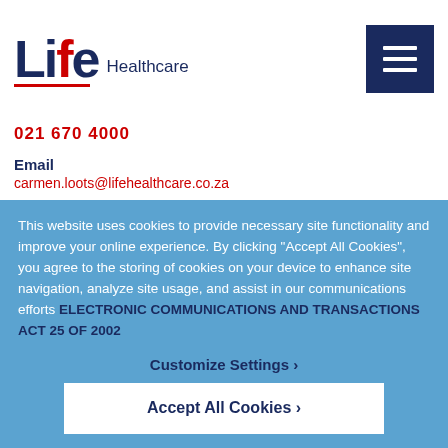[Figure (logo): Life Healthcare logo with red underline accent, and hamburger menu button (dark navy)]
021 670 4000
Email
carmen.loots@lifehealthcare.co.za
This website uses cookies to provide necessary site functionality and improve your online experience. By clicking “Accept All Cookies”, you agree to the storing of cookies on your device to enhance site navigation, analyze site usage, and assist in our communications efforts ELECTRONIC COMMUNICATIONS AND TRANSACTIONS ACT 25 OF 2002
Customize Settings ›
Accept All Cookies ›